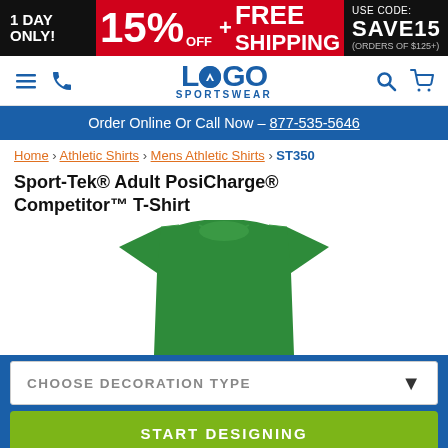1 DAY ONLY! 15% OFF + FREE SHIPPING USE CODE: SAVE15 (ORDERS OF $125+)
[Figure (logo): Logo Sportswear logo with hamburger menu, phone, search, and cart icons]
Order Online Or Call Now – 877-535-5646
Home › Athletic Shirts › Mens Athletic Shirts › ST350
Sport-Tek® Adult PosiCharge® Competitor™ T-Shirt
[Figure (photo): Green Sport-Tek Adult PosiCharge Competitor T-Shirt product photo]
CHOOSE DECORATION TYPE
START DESIGNING